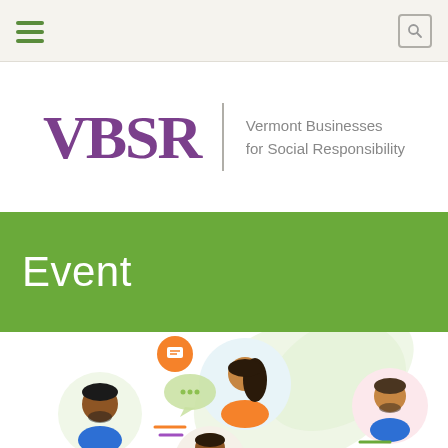Navigation bar with hamburger menu and search icon
[Figure (logo): VBSR logo with large purple letters 'VBSR' and vertical divider followed by text 'Vermont Businesses for Social Responsibility' in gray]
Event
[Figure (illustration): Illustration showing multiple people in circular frames connected by speech bubbles, representing a virtual or in-person event/meeting. People include a man in blue shirt, a woman in orange top, and a man with beard in blue shirt. Orange and green speech bubble icons float around them, set against a light green leaf background element.]